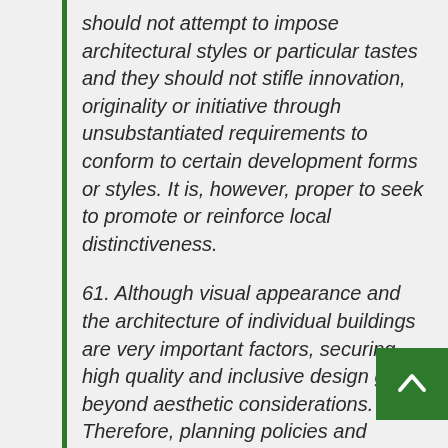should not attempt to impose architectural styles or particular tastes and they should not stifle innovation, originality or initiative through unsubstantiated requirements to conform to certain development forms or styles. It is, however, proper to seek to promote or reinforce local distinctiveness.
61. Although visual appearance and the architecture of individual buildings are very important factors, securing high quality and inclusive design goes beyond aesthetic considerations. Therefore, planning policies and decisions should address the